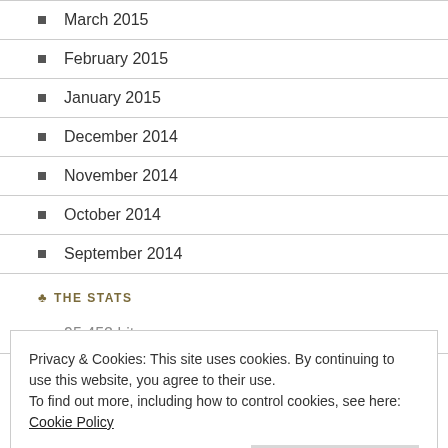March 2015
February 2015
January 2015
December 2014
November 2014
October 2014
September 2014
THE STATS
95,452 hits
RECENT POSTS
Privacy & Cookies: This site uses cookies. By continuing to use this website, you agree to their use.
To find out more, including how to control cookies, see here: Cookie Policy
Close and accept
25, 2021